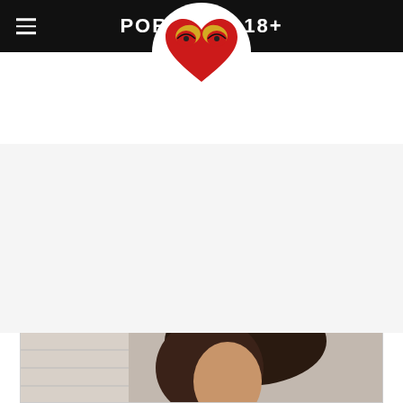PORN XXX 18+
[Figure (logo): Heart-shaped logo with stylized figures in red and gold]
Written By
Dillon Bernard
[Figure (photo): Photo of a dark-haired woman against a light brick wall background]